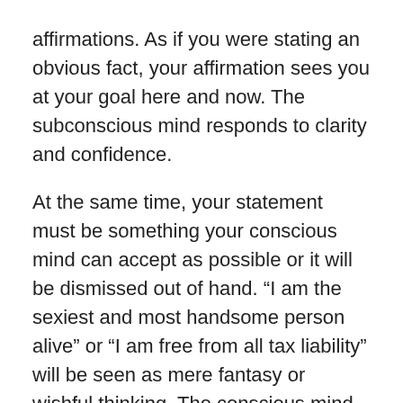affirmations. As if you were stating an obvious fact, your affirmation sees you at your goal here and now. The subconscious mind responds to clarity and confidence.
At the same time, your statement must be something your conscious mind can accept as possible or it will be dismissed out of hand. “I am the sexiest and most handsome person alive” or “I am free from all tax liability” will be seen as mere fantasy or wishful thinking. The conscious mind must accept that your assertion could be true or could become true.
Many of our typical thought patterns tend to concentrate on what we don’t have, we want to take care not to reinforce this affirmation of lack. Focus instead on what you want to attract, not what you want to avoid. Try not to use negative language — “no,” “not,” “never” — in your